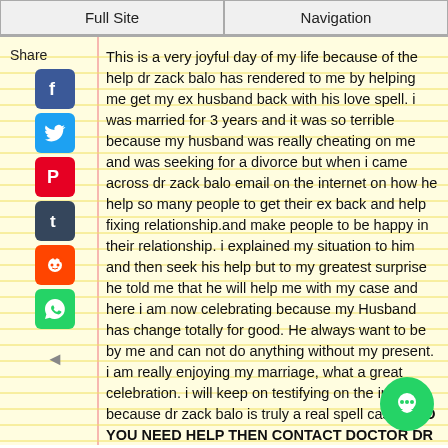Full Site | Navigation
This is a very joyful day of my life because of the help dr zack balo has rendered to me by helping me get my ex husband back with his love spell. i was married for 3 years and it was so terrible because my husband was really cheating on me and was seeking for a divorce but when i came across dr zack balo email on the internet on how he help so many people to get their ex back and help fixing relationship.and make people to be happy in their relationship. i explained my situation to him and then seek his help but to my greatest surprise he told me that he will help me with my case and here i am now celebrating because my Husband has change totally for good. He always want to be by me and can not do anything without my present. i am really enjoying my marriage, what a great celebration. i will keep on testifying on the internet because dr zack balo is truly a real spell caster. DO YOU NEED HELP THEN CONTACT DOCTOR DR ZACK BALO NOW VIA EMAIL: wiseindividualspell@gmail.com call him +2348078927387. He is the only answer for your problem and make you feel happy in your relationship.